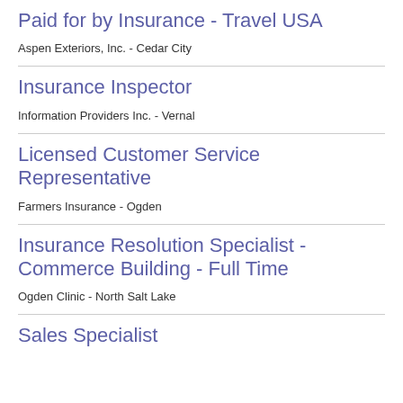Paid for by Insurance - Travel USA
Aspen Exteriors, Inc. - Cedar City
Insurance Inspector
Information Providers Inc. - Vernal
Licensed Customer Service Representative
Farmers Insurance - Ogden
Insurance Resolution Specialist - Commerce Building - Full Time
Ogden Clinic - North Salt Lake
Sales Specialist